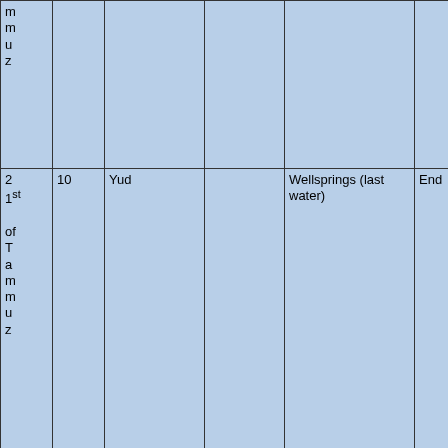| m
m
u
z |  |  |  |  |  |
| 2
1st
of
T
a
m
m
u
z | 10 | Yud |  | Wellsprings (last water) | End |
| 2
2nd
of
T
a
m
m
u
z | 11 | Caf | 6th Cycle | Day |  |